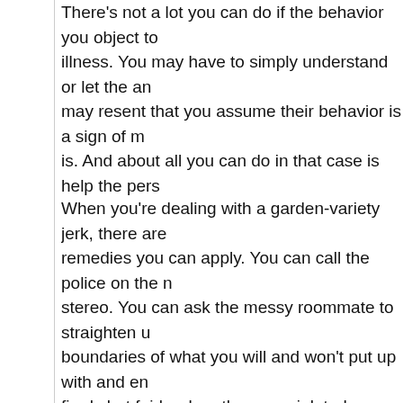There's not a lot you can do if the behavior you object to is due to mental illness. You may have to simply understand or let the an... may resent that you assume their behavior is a sign of m... is. And about all you can do in that case is help the pers...
When you're dealing with a garden-variety jerk, there are remedies you can apply. You can call the police on the n... stereo. You can ask the messy roommate to straighten u... boundaries of what you will and won't put up with and en... firmly but fairly when they are violated.
Of course, there's always the possibility that the person h... mental illness and is also a jerk. If you can figure out wh... please let me know.
I'm not saying that mental illness should be an excuse fo... absolve a person of the consequences of their actions. I... to assume that all bad behavior is due to mental illness,... easy to assume that all bad behavior comes from being...